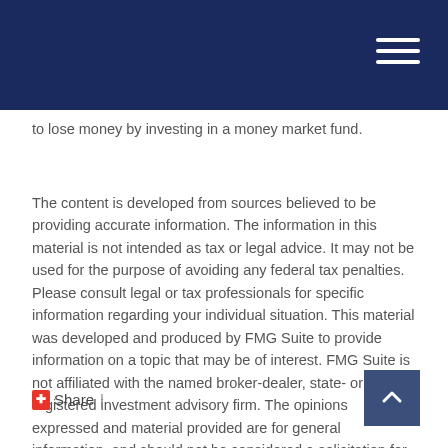to lose money by investing in a money market fund.
The content is developed from sources believed to be providing accurate information. The information in this material is not intended as tax or legal advice. It may not be used for the purpose of avoiding any federal tax penalties. Please consult legal or tax professionals for specific information regarding your individual situation. This material was developed and produced by FMG Suite to provide information on a topic that may be of interest. FMG Suite is not affiliated with the named broker-dealer, state- or SEC-registered investment advisory firm. The opinions expressed and material provided are for general information, and should not be considered a solicitation for the purchase or sale of any security. Copyright 2022 FMG Suite.
Share |